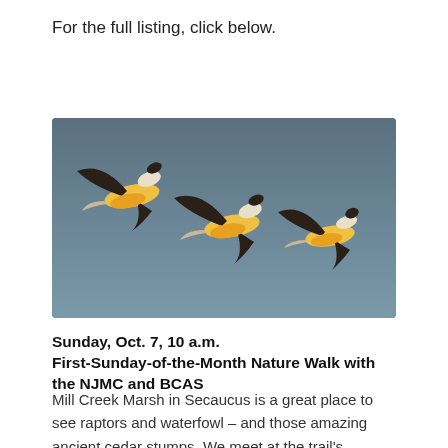For the full listing, click below.
[Figure (photo): Three large birds (likely geese or cranes) in flight against a dark blue-grey sky, with golden/orange and white coloring on their bodies and dark wingtips.]
Sunday, Oct. 7, 10 a.m.
First-Sunday-of-the-Month Nature Walk with the NJMC and BCAS
Mill Creek Marsh in Secaucus is a great place to see raptors and waterfowl – and those amazing ancient cedar stumps. We meet at the trail's entrance, just off Park Plaza Drive. You can also meet us at the visitors'